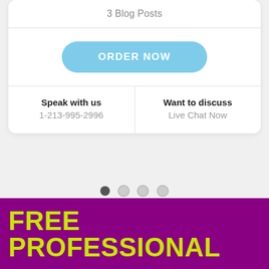3 Blog Posts
ORDER NOW
Speak with us
1-213-995-2996
Want to discuss
Live Chat Now
[Figure (other): Carousel pagination dots: 4 dots, first one active (dark), remaining three inactive (light grey)]
FREE PROFESSIONAL